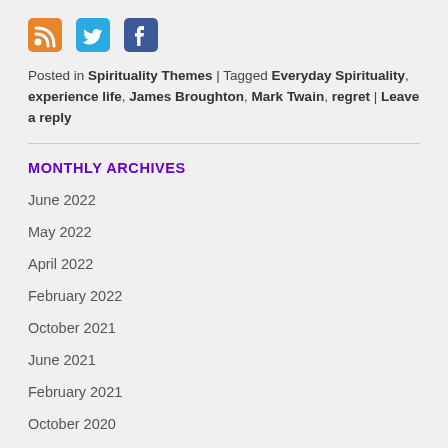[Figure (infographic): Three social media icons: RSS (orange), Twitter (blue bird), Facebook (blue F)]
Posted in Spirituality Themes | Tagged Everyday Spirituality, experience life, James Broughton, Mark Twain, regret | Leave a reply
MONTHLY ARCHIVES
June 2022
May 2022
April 2022
February 2022
October 2021
June 2021
February 2021
October 2020